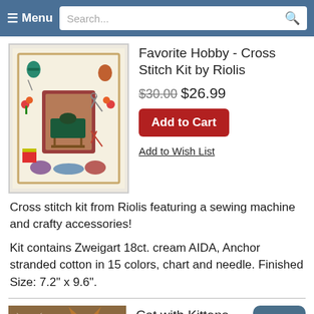Menu | Search...
[Figure (illustration): Cross stitch kit image featuring sewing machine and crafty accessories on cream background]
Favorite Hobby - Cross Stitch Kit by Riolis
$30.00 $26.99
Add to Cart
Add to Wish List
Cross stitch kit from Riolis featuring a sewing machine and crafty accessories!
Kit contains Zweigart 18ct. cream AIDA, Anchor stranded cotton in 15 colors, chart and needle. Finished Size: 7.2" x 9.6".
[Figure (photo): Cat with kittens photo]
Cat with Kittens - Stitch Kit by Riolis